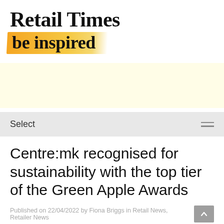Retail Times
be inspired
[Figure (other): Advertisement banner area with pale yellow background]
Select
Centre:mk recognised for sustainability with the top tier of the Green Apple Awards
Published on 22/04/2022 by Fiona Briggs in Retail News, Retailer News